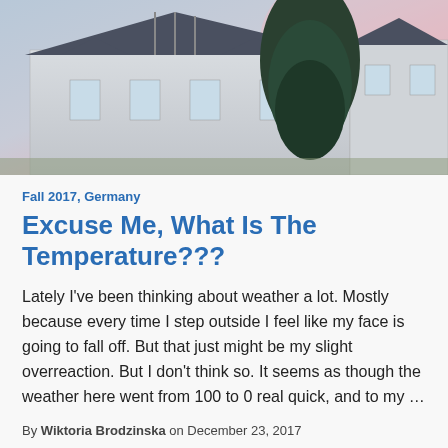[Figure (photo): Exterior photo of a white building with a dark roof, flagpoles, and a large evergreen tree, taken at dusk with a pink/purple sky in the background.]
Fall 2017, Germany
Excuse Me, What Is The Temperature???
Lately I've been thinking about weather a lot. Mostly because every time I step outside I feel like my face is going to fall off. But that just might be my slight overreaction. But I don't think so. It seems as though the weather here went from 100 to 0 real quick, and to my …
By Wiktoria Brodzinska on December 23, 2017